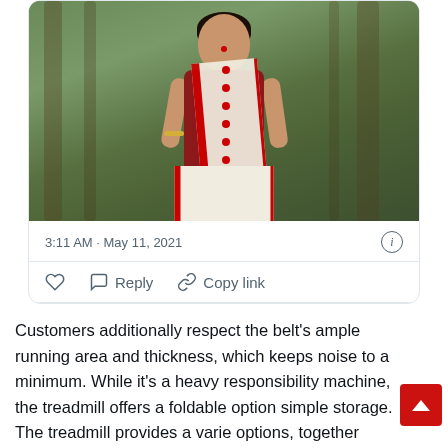[Figure (photo): A woman wearing a red and white saree with a dark red blouse, standing outdoors with trees in the background. She has a bindi on her forehead.]
3:11 AM · May 11, 2021
♡   Reply   Copy link
Customers additionally respect the belt's ample running area and thickness, which keeps noise to a minimum. While it's a heavy responsibility machine, the treadmill offers a foldable option simple storage. The treadmill provides a varie options, together Health with Bluetooth audio, a